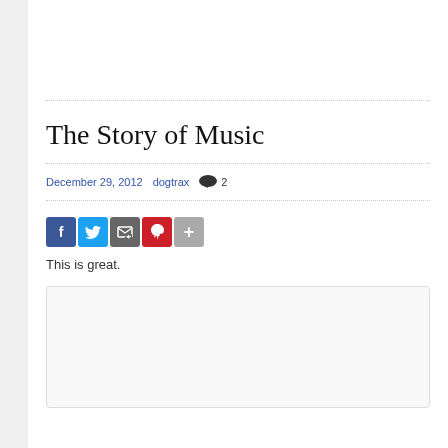The Story of Music
December 29, 2012    dogtrax    💬 2
[Figure (other): Social sharing icons: Facebook (blue), Twitter (light blue), Email/print (grey), Pinterest (red), More (grey)]
This is great.
[Figure (other): Embedded content box (light grey rectangle, empty)]